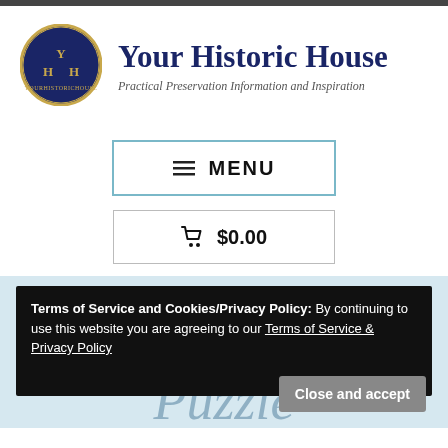[Figure (logo): Your Historic House circular logo with YHH letters on dark navy background with gold text]
Your Historic House
Practical Preservation Information and Inspiration
≡ MENU
🛒 $0.00
Terms of Service and Cookies/Privacy Policy: By continuing to use this website you are agreeing to our Terms of Service & Privacy Policy
Art Nouveau Tile Puzzle
Close and accept